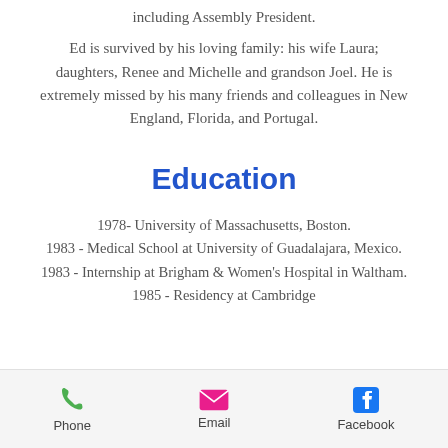including Assembly President.
Ed is survived by his loving family: his wife Laura; daughters, Renee and Michelle and grandson Joel. He is extremely missed by his many friends and colleagues in New England, Florida, and Portugal.
Education
1978- University of Massachusetts, Boston.
1983 - Medical School at University of Guadalajara, Mexico.
1983 - Internship at Brigham & Women's Hospital in Waltham.
1985 - Residency at Cambridge
Phone   Email   Facebook